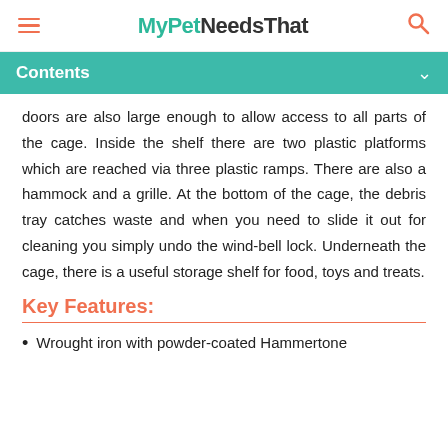MyPetNeedsThat
Contents
doors are also large enough to allow access to all parts of the cage. Inside the shelf there are two plastic platforms which are reached via three plastic ramps. There are also a hammock and a grille. At the bottom of the cage, the debris tray catches waste and when you need to slide it out for cleaning you simply undo the wind-bell lock. Underneath the cage, there is a useful storage shelf for food, toys and treats.
Key Features:
Wrought iron with powder-coated Hammertone